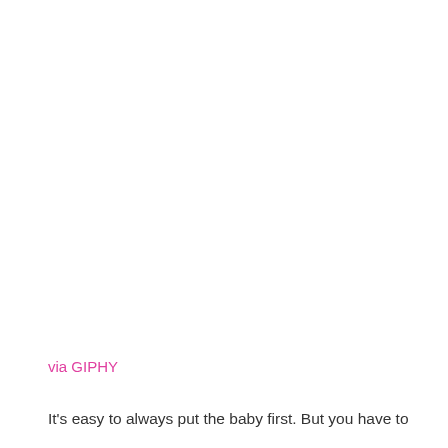via GIPHY
It's easy to always put the baby first. But you have to